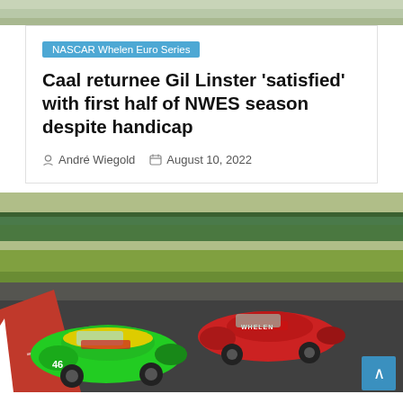[Figure (photo): Top decorative image bar showing a racetrack background]
NASCAR Whelen Euro Series
Caal returnee Gil Linster 'satisfied' with first half of NWES season despite handicap
André Wiegold   August 10, 2022
[Figure (photo): Two NASCAR cars racing on a circuit track — a green car #46 and a red car side by side on a dark asphalt curve with green barriers in the background]